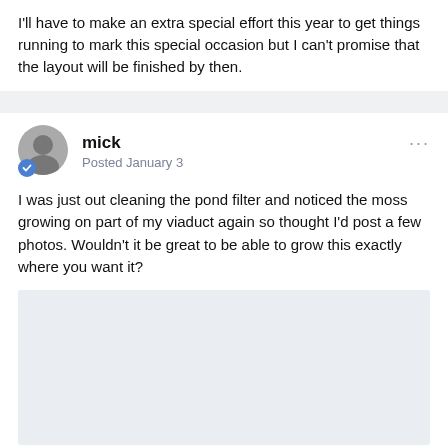I'll have to make an extra special effort this year to get things running to mark this special occasion but I can't promise that the layout will be finished by then.
mick
Posted January 3
I was just out cleaning the pond filter and noticed the moss growing on part of my viaduct again so thought I'd post a few photos. Wouldn't it be great to be able to grow this exactly where you want it?
[Figure (photo): A light gray placeholder rectangle representing a photo attachment in the forum post.]